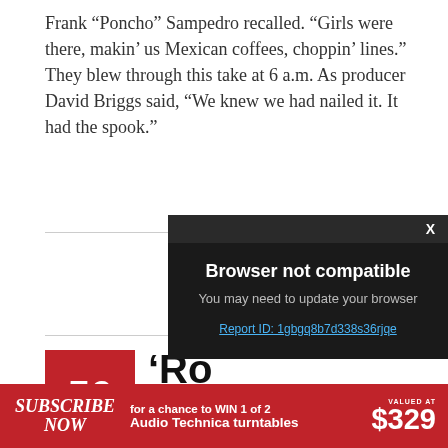Frank “Poncho” Sampedro recalled. “Girls were there, makin’ us Mexican coffees, choppin’ lines.” They blew through this take at 6 a.m. As producer David Briggs said, “We knew we had nailed it. It had the spook.”
[Figure (screenshot): Modal dialog overlay with dark background reading 'Browser not compatible. You may need to update your browser. Report ID: 1gbgq8b7d338s36rjqe' with an X close button in the top right.]
56
‘Ro Nu Po
SUBSCRIBE NOW for a chance to WIN 1 of 2 Audio Technica turntables VALUED AT $329